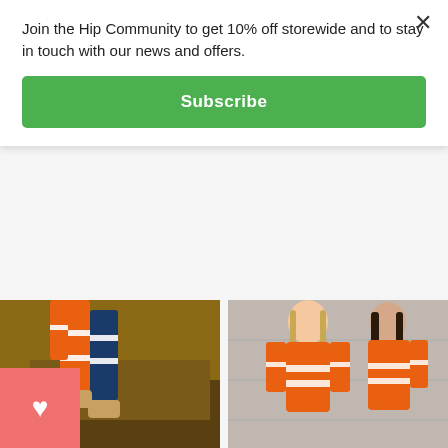Join the Hip Community to get 10% off storewide and to stay in touch with our news and offers.
Subscribe
[Figure (photo): Person wearing orange hi-vis reflective cargo pants climbing on construction equipment]
[Figure (photo): Two women wearing orange hi-vis reflective lightweight shirts standing against a concrete wall]
Pants Cargo Reflective 'Be Seen'
$99.95 including GST
$79.95 including GST
Light Weight Shirt HiVis Reflective 'The Night Life'
$74.95 including GST
$59.95 including GST